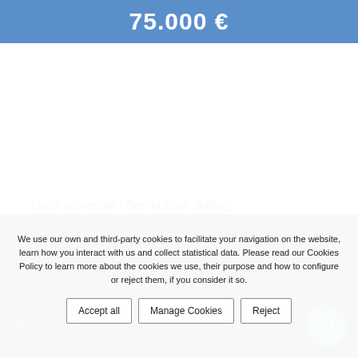75.000 €
Local comercial - Sevilla (San Julián)
We use our own and third-party cookies to facilitate your navigation on the website, learn how you interact with us and collect statistical data. Please read our Cookies Policy to learn more about the cookies we use, their purpose and how to configure or reject them, if you consider it so.
Accept all
Manage Cookies
Reject
QUESTION?